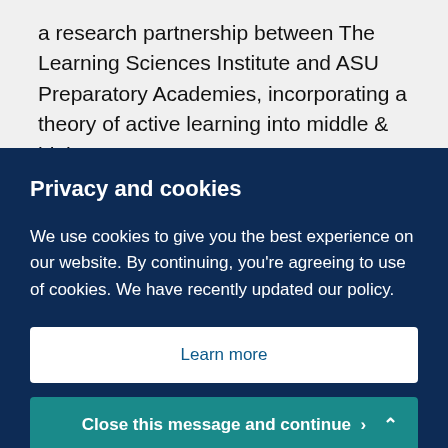a research partnership between The Learning Sciences Institute and ASU Preparatory Academies, incorporating a theory of active learning into middle & high
Privacy and cookies
We use cookies to give you the best experience on our website. By continuing, you're agreeing to use of cookies. We have recently updated our policy.
Learn more
Close this message and continue >